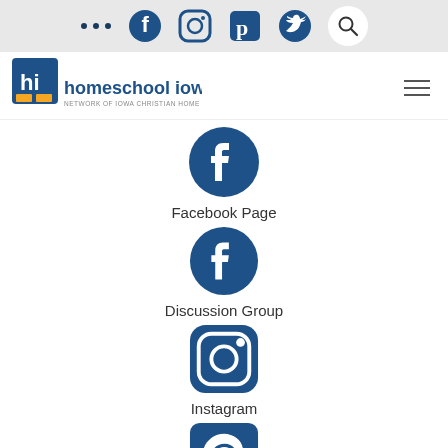[Figure (screenshot): Top navigation bar with social media icons (ellipsis, Facebook, Instagram, Pinterest, Twitter) and a search button on a light gray background]
[Figure (logo): Homeschool Iowa logo with 'hi' icon and tagline 'Network of Iowa Christian Home Educators']
[Figure (illustration): Facebook icon circle (dark blue)]
Facebook Page
[Figure (illustration): Facebook icon circle (dark blue)]
Discussion Group
[Figure (illustration): Instagram icon rounded square (dark blue)]
Instagram
[Figure (illustration): Pinterest icon rounded square (dark blue)]
Pinterest